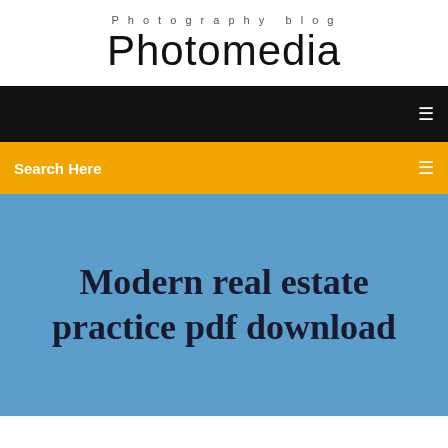Photography blog
Photomedia
[Figure (screenshot): Black navigation bar with a small white icon on the right]
Search Here
Modern real estate practice pdf download